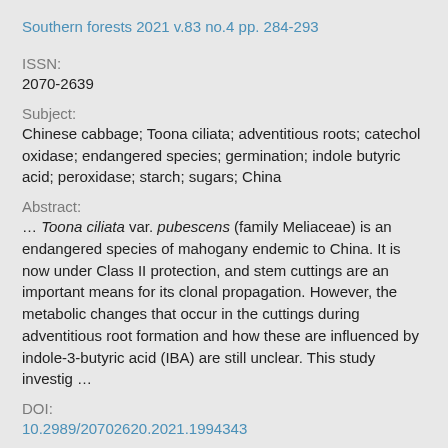Southern forests 2021 v.83 no.4 pp. 284-293
ISSN:
2070-2639
Subject:
Chinese cabbage; Toona ciliata; adventitious roots; catechol oxidase; endangered species; germination; indole butyric acid; peroxidase; starch; sugars; China
Abstract:
… Toona ciliata var. pubescens (family Meliaceae) is an endangered species of mahogany endemic to China. It is now under Class II protection, and stem cuttings are an important means for its clonal propagation. However, the metabolic changes that occur in the cuttings during adventitious root formation and how these are influenced by indole-3-butyric acid (IBA) are still unclear. This study investig …
DOI:
10.2989/20702620.2021.1994343